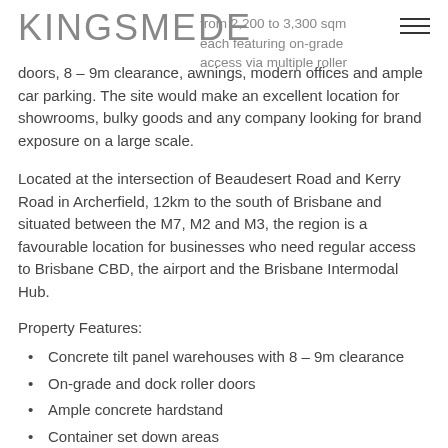KINGSMEDE
from 2,200 to 3,300 sqm each featuring on-grade access via multiple roller doors, 8 – 9m clearance, awnings, modern offices and ample car parking. The site would make an excellent location for showrooms, bulky goods and any company looking for brand exposure on a large scale.
Located at the intersection of Beaudesert Road and Kerry Road in Archerfield, 12km to the south of Brisbane and situated between the M7, M2 and M3, the region is a favourable location for businesses who need regular access to Brisbane CBD, the airport and the Brisbane Intermodal Hub.
Property Features:
Concrete tilt panel warehouses with 8 – 9m clearance
On-grade and dock roller doors
Ample concrete hardstand
Container set down areas
Air conditioned office